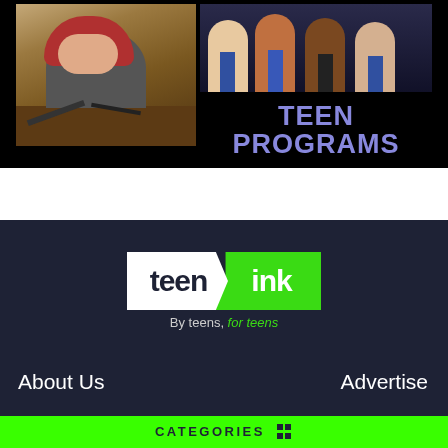[Figure (photo): Top banner image showing teen programs. Left side: a red-haired girl working on a craft project at a wooden table. Top right: a group of four teens sitting together. Bottom right: black background with 'TEEN PROGRAMS' text in bold purple/lavender letters.]
[Figure (logo): Teen Ink logo - white panel with 'teen' in dark text and green panel with 'ink' in white text, below tagline 'By teens, for teens' with 'for teens' in green.]
About Us
Advertise
CATEGORIES